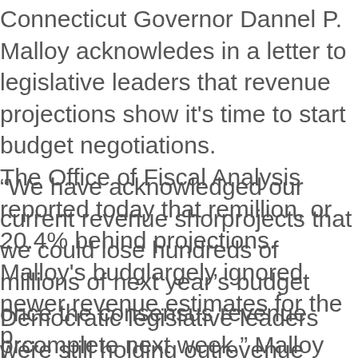Connecticut Governor Dannel P. Malloy acknowledges in a letter to legislative leaders that revenue projections show it's time to start budget negotiations.
The Office of Fiscal Analysis reported today that revenues fell $169 million, or 20.4% behind projections. Malloy's budget proposal largely ignored newer revenue estimates for the p...
“We have acknowledged our current revenue shortfall and projects that we could lose hundreds of millions of dollars in next year’s budget once the consensus revenue projections are complete next week,” Malloy wrote. “Given that, and awaiting a formal proposal from your Appropriations and Finance committees, we must chart a course together for reaching a responsible, balanced budget for the coming biennium.”
Democratic legislative leaders were still holding out on a revenue package, but the party only has a one vote margin in committee and it’s still unclear whether it will com...